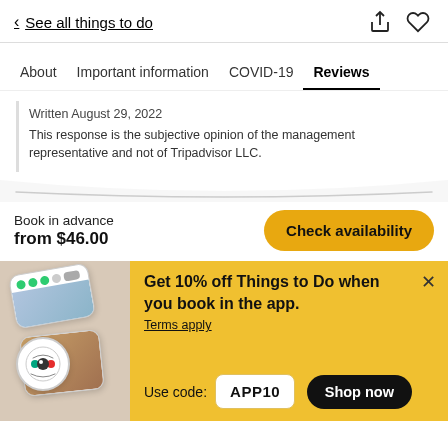< See all things to do
About  Important information  COVID-19  Reviews
Written August 29, 2022
This response is the subjective opinion of the management representative and not of Tripadvisor LLC.
Book in advance
from $46.00
[Figure (screenshot): Yellow 'Check availability' button]
[Figure (infographic): Tripadvisor app promo banner with phone cards and badge image on yellow background]
Get 10% off Things to Do when you book in the app.
Terms apply
Use code: APP10
[Figure (other): Black 'Shop now' rounded button]